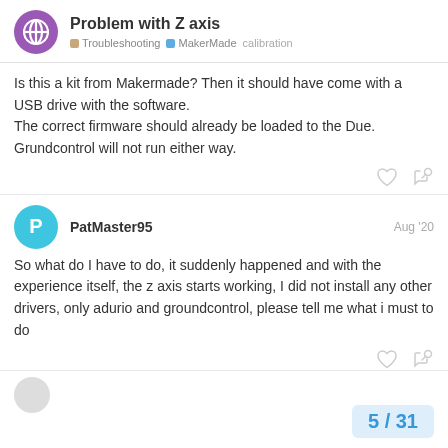Problem with Z axis | Troubleshooting | MakerMade | calibration
Is this a kit from Makermade? Then it should have come with a USB drive with the software.
The correct firmware should already be loaded to the Due.
Grundcontrol will not run either way.
PatMaster95 Aug '20
So what do I have to do, it suddenly happened and with the experience itself, the z axis starts working, I did not install any other drivers, only adurio and groundcontrol, please tell me what i must to do
5 / 31